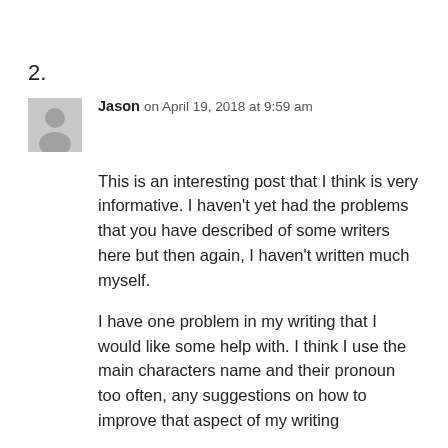2.
Jason on April 19, 2018 at 9:59 am
This is an interesting post that I think is very informative. I haven't yet had the problems that you have described of some writers here but then again, I haven't written much myself.
I have one problem in my writing that I would like some help with. I think I use the main characters name and their pronoun too often, any suggestions on how to improve that aspect of my writing